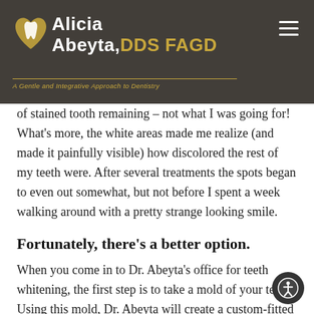Alicia Abeyta, DDS FAGD — A Gentle and Integrative Approach to Dentistry
evenly to my teeth. They stuck in some areas, but failed to adhere in others, and tiny bubbles of air became trapped beneath the surface. The result was a patchy whitening of my teeth, with large areas of stained tooth remaining – not what I was going for! What's more, the white areas made me realize (and made it painfully visible) how discolored the rest of my teeth were. After several treatments the spots began to even out somewhat, but not before I spent a week walking around with a pretty strange looking smile.
Fortunately, there's a better option.
When you come in to Dr. Abeyta's office for teeth whitening, the first step is to take a mold of your teeth. Using this mold, Dr. Abeyta will create a custom-fitted stent, which you can pick up the next day. You'll also receive the bleaching solution and instructions on how to use them together. The stent will ensure even application of the compound to your teeth. Wear your